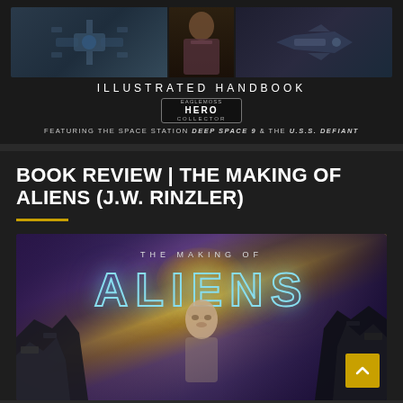[Figure (illustration): Star Trek Deep Space 9 Illustrated Handbook book cover showing station schematic on left, Captain Sisko in center, USS Defiant ship on right, with Hero Collector badge. Text reads 'ILLUSTRATED HANDBOOK' and 'FEATURING THE SPACE STATION DEEP SPACE 9 & THE U.S.S. DEFIANT']
BOOK REVIEW | THE MAKING OF ALIENS (J.W. RINZLER)
[Figure (photo): Book cover of 'The Making of Aliens' by J.W. Rinzler showing large teal outlined ALIENS text, with a woman (Sigourney Weaver as Ripley) visible in the center flanked by large mechanical alien/power loader elements, against a purple-blue atmospheric background with a golden glowing light source above]